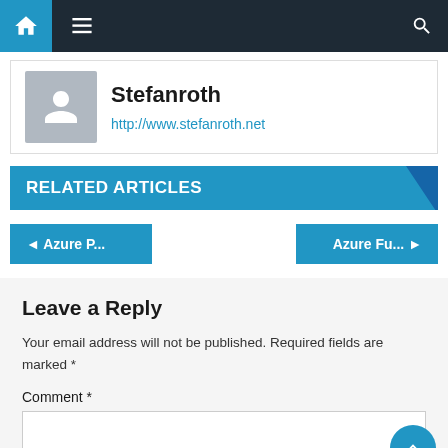Navigation bar with home, menu, and search icons
Stefanroth
http://www.stefanroth.net
RELATED ARTICLES
◄ Azure P...
Azure Fu... ►
Leave a Reply
Your email address will not be published. Required fields are marked *
Comment *